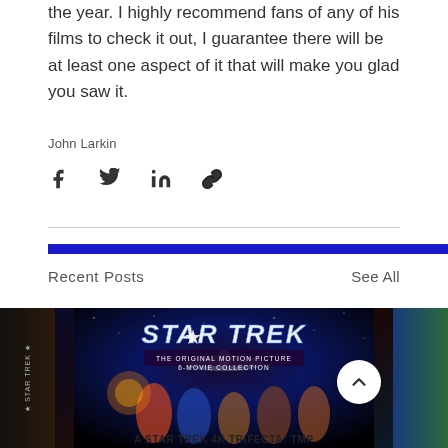the year. I highly recommend fans of any of his films to check it out, I guarantee there will be at least one aspect of it that will make you glad you saw it.
John Larkin
[Figure (other): Social media share icons: Facebook, Twitter, LinkedIn, and a link/chain icon]
Recent Posts
See All
[Figure (photo): Star Trek: The Original Motion Picture 6-Movie Collection movie cover art with characters and a spaceship, with a white circle up-arrow button and a blue circle ellipsis button overlaid]
A STAR TREK 4K TRIFECTA: TMP